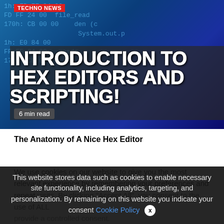[Figure (photo): Hero image with blue/dark coding background showing hexadecimal code and Java-style code text. Contains TECHNO NEWS badge in red, large white bold title text 'INTRODUCTION TO HEX EDITORS AND SCRIPTING!' over a dark overlay, and '6 min read' badge at bottom left.]
The Anatomy of A Nice Hex Editor
We use cookies on our website to give you the most relevant experience by remembering your preferences and repeat visits. By clicking "Accept All", you consent to the use of ALL provide a controlled consent.
This website stores data such as cookies to enable necessary site functionality, including analytics, targeting, and personalization. By remaining on this website you indicate your consent Cookie Policy  ✕